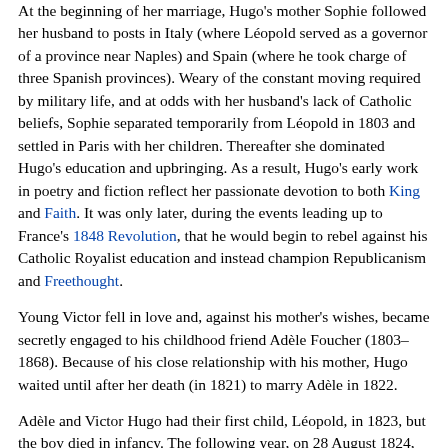At the beginning of her marriage, Hugo's mother Sophie followed her husband to posts in Italy (where Léopold served as a governor of a province near Naples) and Spain (where he took charge of three Spanish provinces). Weary of the constant moving required by military life, and at odds with her husband's lack of Catholic beliefs, Sophie separated temporarily from Léopold in 1803 and settled in Paris with her children. Thereafter she dominated Hugo's education and upbringing. As a result, Hugo's early work in poetry and fiction reflect her passionate devotion to both King and Faith. It was only later, during the events leading up to France's 1848 Revolution, that he would begin to rebel against his Catholic Royalist education and instead champion Republicanism and Freethought.
Young Victor fell in love and, against his mother's wishes, became secretly engaged to his childhood friend Adèle Foucher (1803–1868). Because of his close relationship with his mother, Hugo waited until after her death (in 1821) to marry Adèle in 1822.
Adèle and Victor Hugo had their first child, Léopold, in 1823, but the boy died in infancy. The following year, on 28 August 1824, the couple's second child, Léopoldine was born, followed by Charles on